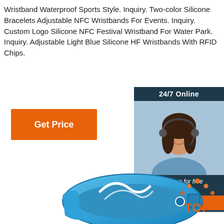Wristband Waterproof Sports Style. Inquiry. Two-color Silicone Bracelets Adjustable NFC Wristbands For Events. Inquiry. Custom Logo Silicone NFC Festival Wristband For Water Park. Inquiry. Adjustable Light Blue Silicone HF Wristbands With RFID Chips.
[Figure (other): Orange 'Get Price' button]
[Figure (other): Customer service chat widget with dark teal header showing '24/7 Online', photo of female customer service agent with headset, text 'Click here for free chat!', and orange QUOTATION button]
[Figure (photo): Blue silicone RFID wristband with white decorative design elements]
[Figure (other): Orange and red dots arranged in triangle/arc with text 'TOP' in orange below]